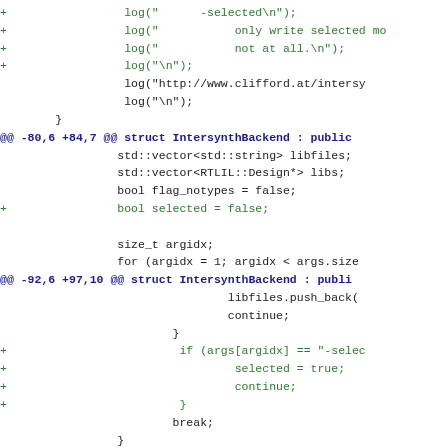[Figure (screenshot): A unified diff/patch screenshot showing code changes to a C++ file. Added lines (green, prefixed with +) and context lines (black) are shown, along with hunk headers (blue bold) indicating line ranges and struct IntersynthBackend context.]